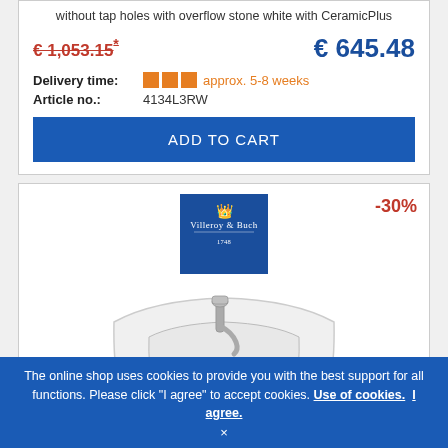without tap holes with overflow stone white with CeramicPlus
€ 1,053.15* (old price, strikethrough) € 645.48 (new price)
Delivery time: approx. 5-8 weeks
Article no.: 4134L3RW
ADD TO CART
[Figure (logo): Villeroy & Buch brand logo, dark blue square]
-30%
[Figure (photo): White ceramic bathroom sink/washbasin with chrome tap, viewed from above at an angle]
The online shop uses cookies to provide you with the best support for all functions. Please click "I agree" to accept cookies. Use of cookies. I agree. ×